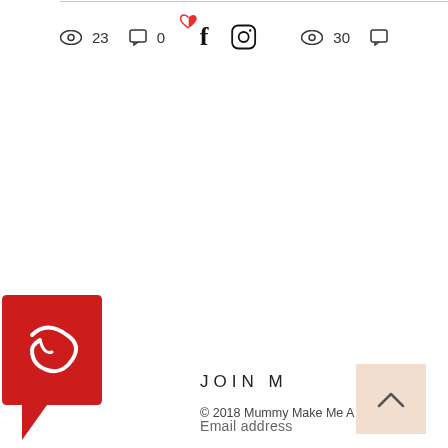👁 23  💬 0   ❤f  📷  👁 30  💬
[Figure (logo): Red speech bubble logo with decorative white design, positioned on left side]
JOIN M
Email address
[Figure (other): Dark email input bar]
© 2018 Mummy Make Me A Story.